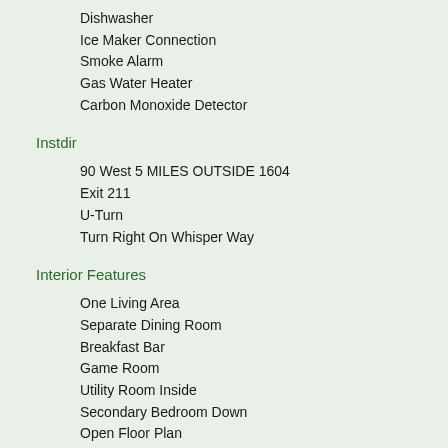Dishwasher
Ice Maker Connection
Smoke Alarm
Gas Water Heater
Carbon Monoxide Detector
Instdir
90 West 5 MILES OUTSIDE 1604
Exit 211
U-Turn
Turn Right On Whisper Way
Interior Features
One Living Area
Separate Dining Room
Breakfast Bar
Game Room
Utility Room Inside
Secondary Bedroom Down
Open Floor Plan